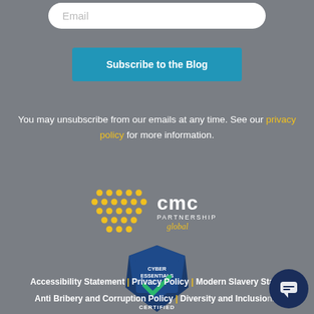Email
Subscribe to the Blog
You may unsubscribe from our emails at any time. See our privacy policy for more information.
[Figure (logo): CMC Partnership Global logo with yellow dot pattern and text]
[Figure (logo): Cyber Essentials Certified badge]
Accessibility Statement | Privacy Policy | Modern Slavery Sta... | Anti Bribery and Corruption Policy | Diversity and Inclusion...